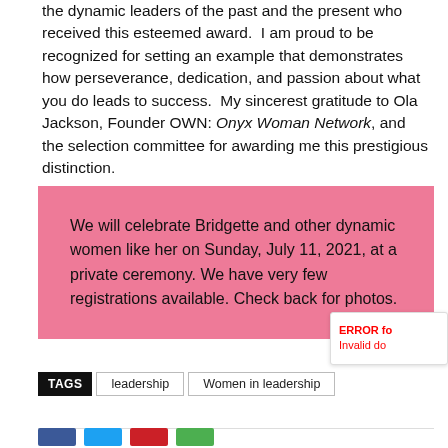the dynamic leaders of the past and the present who received this esteemed award.  I am proud to be recognized for setting an example that demonstrates how perseverance, dedication, and passion about what you do leads to success.  My sincerest gratitude to Ola Jackson, Founder OWN: Onyx Woman Network, and the selection committee for awarding me this prestigious distinction.
We will celebrate Bridgette and other dynamic women like her on Sunday, July 11, 2021, at a private ceremony. We have very few registrations available. Check back for photos.
TAGS  leadership  Women in leadership